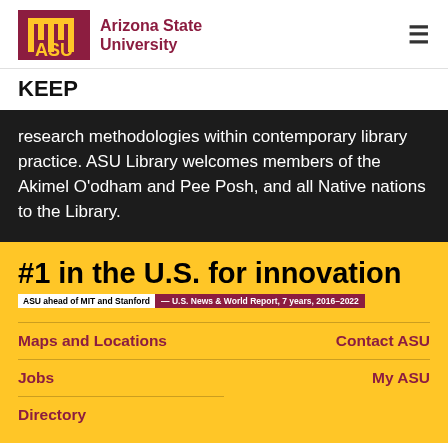Arizona State University
KEEP
research methodologies within contemporary library practice. ASU Library welcomes members of the Akimel O'odham and Pee Posh, and all Native nations to the Library.
[Figure (infographic): #1 in the U.S. for innovation — ASU ahead of MIT and Stanford — U.S. News & World Report, 7 years, 2016–2022]
Maps and Locations
Contact ASU
Jobs
My ASU
Directory